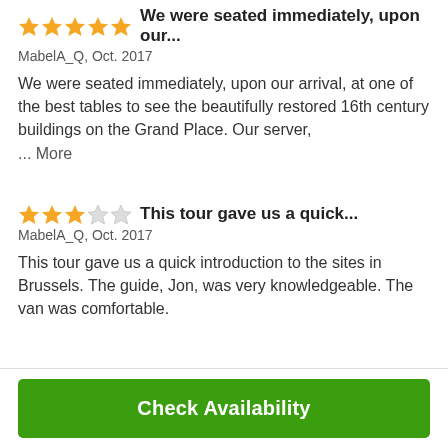We were seated immediately, upon our...
MabelA_Q, Oct. 2017
We were seated immediately, upon our arrival, at one of the best tables to see the beautifully restored 16th century buildings on the Grand Place. Our server,
... More
This tour gave us a quick...
MabelA_Q, Oct. 2017
This tour gave us a quick introduction to the sites in Brussels. The guide, Jon, was very knowledgeable. The van was comfortable.
Check Availability